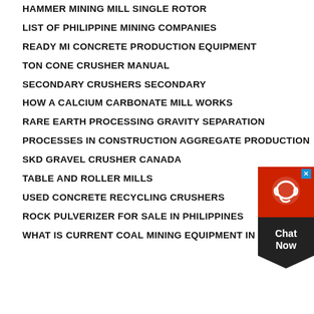HAMMER MINING MILL SINGLE ROTOR
LIST OF PHILIPPINE MINING COMPANIES
READY MI CONCRETE PRODUCTION EQUIPMENT
TON CONE CRUSHER MANUAL
SECONDARY CRUSHERS SECONDARY
HOW A CALCIUM CARBONATE MILL WORKS
RARE EARTH PROCESSING GRAVITY SEPARATION
PROCESSES IN CONSTRUCTION AGGREGATE PRODUCTION
SKD GRAVEL CRUSHER CANADA
TABLE AND ROLLER MILLS
USED CONCRETE RECYCLING CRUSHERS
ROCK PULVERIZER FOR SALE IN PHILIPPINES
WHAT IS CURRENT COAL MINING EQUIPMENT IN INDIA
[Figure (other): Chat Now widget with red top showing headset icon and dark bottom with pentagon shape]